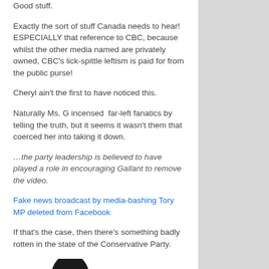Good stuff.
Exactly the sort of stuff Canada needs to hear! ESPECIALLY that reference to CBC, because whilst the other media named are privately owned, CBC’s lick-spittle leftism is paid for from the public purse!
Cheryl ain’t the first to have noticed this.
Naturally Ms. G incensed  far-left fanatics by telling the truth, but it seems it wasn’t them that coerced her into taking it down.
…the party leadership is believed to have played a role in encouraging Gallant to remove the video.
Fake news broadcast by media-bashing Tory MP deleted from Facebook
If that’s the case, then there’s something badly rotten in the state of the Conservative Party.
[Figure (illustration): A bird silhouette (black) partially visible at the bottom of the page, appears to be a penguin or similar bird icon]